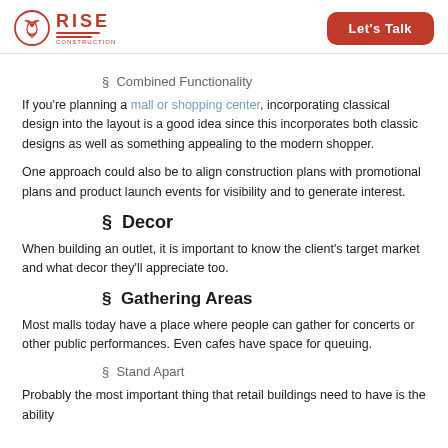RISE | Let's Talk
§  Combined Functionality
If you're planning a mall or shopping center, incorporating classical design into the layout is a good idea since this incorporates both classic designs as well as something appealing to the modern shopper.
One approach could also be to align construction plans with promotional plans and product launch events for visibility and to generate interest.
§  Decor
When building an outlet, it is important to know the client's target market and what decor they'll appreciate too.
§  Gathering Areas
Most malls today have a place where people can gather for concerts or other public performances. Even cafes have space for queuing.
§  Stand Apart
Probably the most important thing that retail buildings need to have is the ability